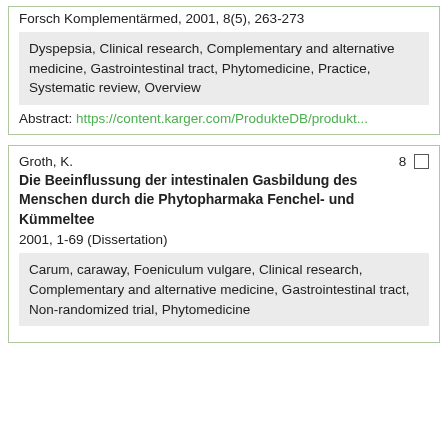Forsch Komplementärmed, 2001, 8(5), 263-273
Dyspepsia, Clinical research, Complementary and alternative medicine, Gastrointestinal tract, Phytomedicine, Practice, Systematic review, Overview
Abstract: https://content.karger.com/ProdukteDB/produkt...
Groth, K.
Die Beeinflussung der intestinalen Gasbildung des Menschen durch die Phytopharmaka Fenchel- und Kümmeltee
2001, 1-69 (Dissertation)
Carum, caraway, Foeniculum vulgare, Clinical research, Complementary and alternative medicine, Gastrointestinal tract, Non-randomized trial, Phytomedicine